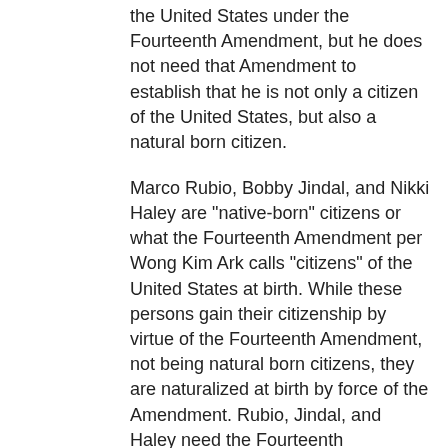the United States under the Fourteenth Amendment, but he does not need that Amendment to establish that he is not only a citizen of the United States, but also a natural born citizen.
Marco Rubio, Bobby Jindal, and Nikki Haley are "native-born" citizens or what the Fourteenth Amendment per Wong Kim Ark calls "citizens" of the United States at birth. While these persons gain their citizenship by virtue of the Fourteenth Amendment, not being natural born citizens, they are naturalized at birth by force of the Amendment. Rubio, Jindal, and Haley need the Fourteenth Amendment to make them citizens of the United States, for under the common law and the earlier naturalization Acts of Congress, they would be aliens.
Ted Cruz is a "citizen" of the United States at birth, but only by virtue of a naturalization Act of Congress. He needs that naturalization Act of Congress to establish his position of the...